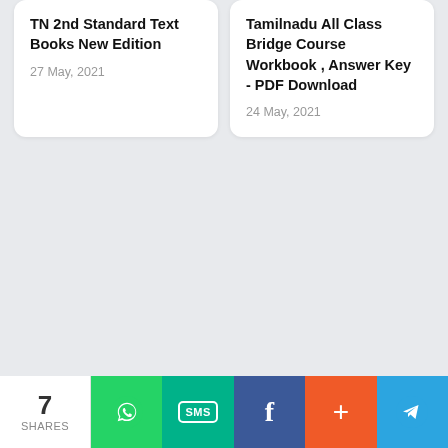TN 2nd Standard Text Books New Edition
27 May, 2021
Tamilnadu All Class Bridge Course Workbook , Answer Key - PDF Download
24 May, 2021
7 SHARES